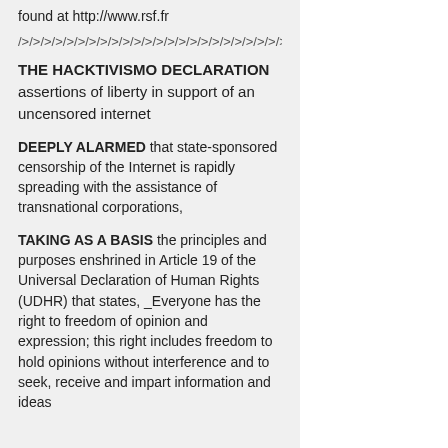found at http://www.rsf.fr
/>/>/>/>/>/>/>/>/>/>/>/>/>/>/>/>/>/>/>/>/>/>/>/>/>/>/>/>/>/>/>/>/>/>/>/>/>/>/>/>/>/>/>/>/>/>/>/>/>/>/>/>/>/>/>/>/>/>/>/>/>/>/>/>/>/>/>/>/>/>/>/...
THE HACKTIVISMO DECLARATION assertions of liberty in support of an uncensored internet
DEEPLY ALARMED that state-sponsored censorship of the Internet is rapidly spreading with the assistance of transnational corporations,
TAKING AS A BASIS the principles and purposes enshrined in Article 19 of the Universal Declaration of Human Rights (UDHR) that states, _Everyone has the right to freedom of opinion and expression; this right includes freedom to hold opinions without interference and to seek, receive and impart information and ideas through any media and regardless...